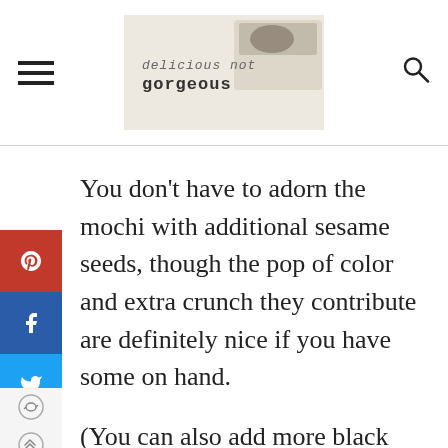delicious not gorgeous
You don't have to adorn the mochi with additional sesame seeds, though the pop of color and extra crunch they contribute are definitely nice if you have some on hand.
(You can also add more black sesame seeds on top and you'll still get the crunch, just not the contrasting color between the whole seeds on top and the